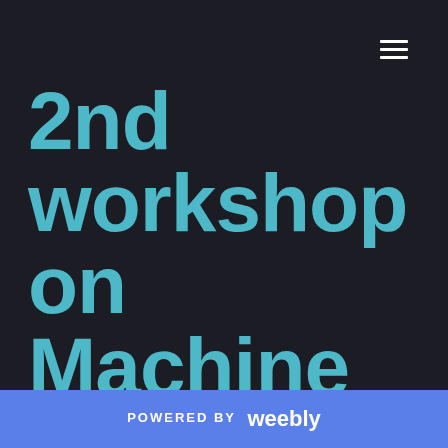☰
2nd workshop on Machine Learning for Computing
POWERED BY weebly